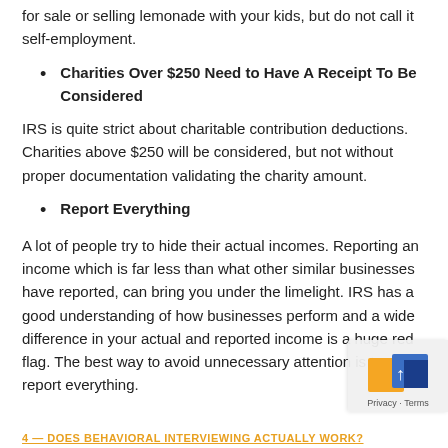for sale or selling lemonade with your kids, but do not call it self-employment.
Charities Over $250 Need to Have A Receipt To Be Considered
IRS is quite strict about charitable contribution deductions. Charities above $250 will be considered, but not without proper documentation validating the charity amount.
Report Everything
A lot of people try to hide their actual incomes. Reporting an income which is far less than what other similar businesses have reported, can bring you under the limelight. IRS has a good understanding of how businesses perform and a wide difference in your actual and reported income is a huge red flag. The best way to avoid unnecessary attention is to report everything.
DOES BEHAVIORAL INTERVIEWING ACTUALLY WORK?